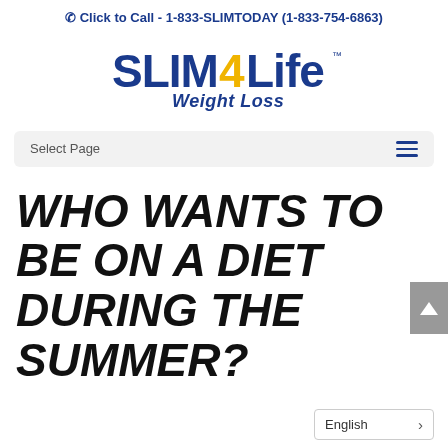Click to Call - 1-833-SLIMTODAY (1-833-754-6863)
[Figure (logo): Slim4Life Weight Loss logo — bold navy and yellow stylized text with 'SLIM4Life' and 'Weight Loss' beneath]
Select Page
WHO WANTS TO BE ON A DIET DURING THE SUMMER?
English